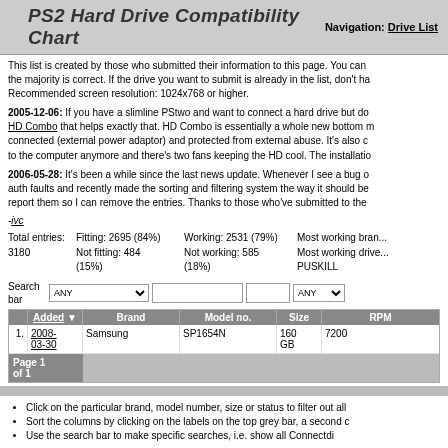PS2 Hard Drive Compatibility Chart
Navigation: Drive List
This list is created by those who submitted their information to this page. You can... the majority is correct. If the drive you want to submit is already in the list, don't ha... Recommended screen resolution: 1024x768 or higher.
2005-12-06: If you have a slimline PStwo and want to connect a hard drive but do... HD Combo that helps exactly that. HD Combo is essentially a whole new bottom m... connected (external power adaptor) and protected from external abuse. It's also c... to the computer anymore and there's two fans keeping the HD cool. The installatio...
2006-05-28: It's been a while since the last news update. Whenever I see a bug o... auth faults and recently made the sorting and filtering system the way it should be... report them so I can remove the entries. Thanks to those who've submitted to the...
-ivc
Total entries: 3180
Fitting: 2695 (84%)
Not fitting: 484 (15%)
Working: 2531 (79%)
Not working: 585 (18%)
Most working bran...
Most working drive...
PUSKILL
|  | Added | Brand | Model no. | Size | RPM |
| --- | --- | --- | --- | --- | --- |
| 1. | 2008-03-30 | Samsung | SP1654N | 160 GB | 7200 |
Page 1 of 1
Click on the particular brand, model number, size or status to filter out all...
Sort the columns by clicking on the labels on the top grey bar, a second c...
Use the search bar to make specific searches, i.e. show all Connectdi...